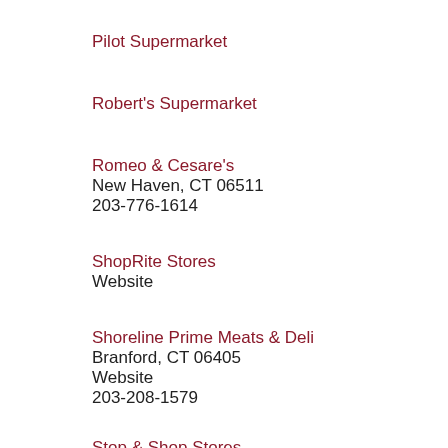Pilot Supermarket
Robert's Supermarket
Romeo & Cesare's
New Haven, CT 06511
203-776-1614
ShopRite Stores
Website
Shoreline Prime Meats & Deli
Branford, CT 06405
Website
203-208-1579
Stop & Shop Stores